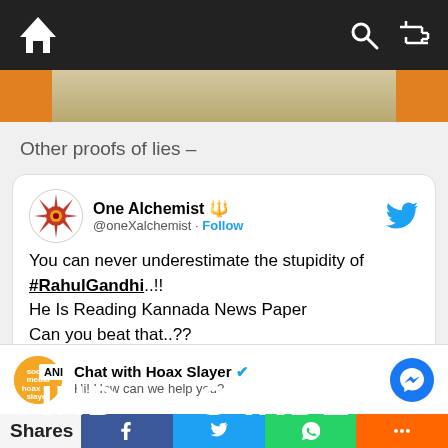Navigation bar with home icon, search icon, shuffle icon
[Figure (screenshot): Partial image strip showing a document/paper in background]
Other proofs of lies –
[Figure (screenshot): Embedded tweet from One Alchemist (@oneXalchemist) saying: You can never underestimate the stupidity of #RahulGandhi..!! He Is Reading Kannada News Paper Can you beat that..?? with an image showing ANI INDIA text on blue background]
[Figure (screenshot): Chat widget: Chat with Hoax Slayer (verified) - Hi! How can we help you? with Messenger icon]
Shares [Facebook] [Twitter] [WhatsApp] [More]